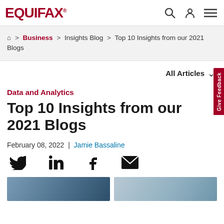EQUIFAX®
🏠 > Business > Insights Blog > Top 10 Insights from our 2021 Blogs
All Articles ∨
Data and Analytics
Top 10 Insights from our 2021 Blogs
February 08, 2022 | Jamie Bassaline